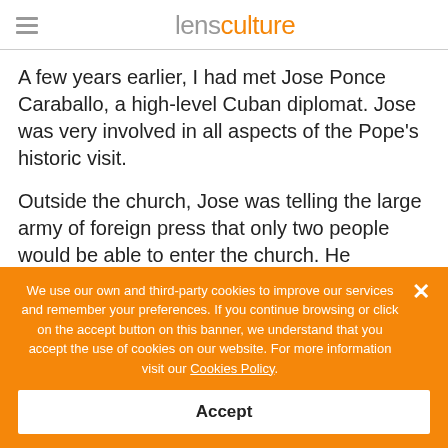lensculture
A few years earlier, I had met Jose Ponce Caraballo, a high-level Cuban diplomat. Jose was very involved in all aspects of the Pope’s historic visit.
Outside the church, Jose was telling the large army of foreign press that only two people would be able to enter the church. He selected a Cuban still photographer and TV reporter; he then told the officers manning the barrier that nobody else would have access. Luckily, I was standing next to Jose. I placed my hand on his shoulder and said, “Jose, please
We use our own and third-party cookies to improve our services and remember your preferences. If you continue browsing or click on the accept button on this banner, we understand that you accept the use of cookies on our website. For more information visit our Cookies Policy.
Accept